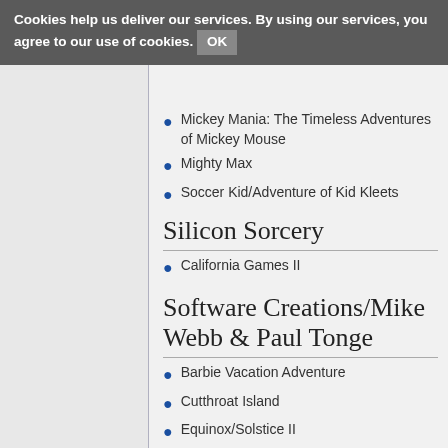Cookies help us deliver our services. By using our services, you agree to our use of cookies. OK
Mickey Mania: The Timeless Adventures of Mickey Mouse
Mighty Max
Soccer Kid/Adventure of Kid Kleets
Silicon Sorcery
California Games II
Software Creations/Mike Webb & Paul Tonge
Barbie Vacation Adventure
Cutthroat Island
Equinox/Solstice II
Foreman For Real
Ken Griffey Jr. Presents Major League Baseball